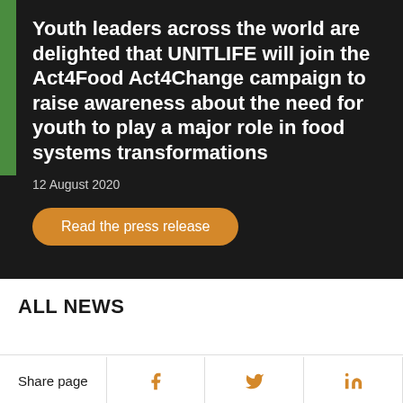Youth leaders across the world are delighted that UNITLIFE will join the Act4Food Act4Change campaign to raise awareness about the need for youth to play a major role in food systems transformations
12 August 2020
Read the press release
ALL NEWS
Share page